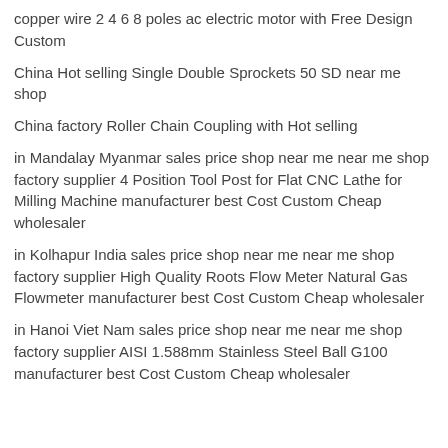copper wire 2 4 6 8 poles ac electric motor with Free Design Custom
China Hot selling Single Double Sprockets 50 SD near me shop
China factory Roller Chain Coupling with Hot selling
in Mandalay Myanmar sales price shop near me near me shop factory supplier 4 Position Tool Post for Flat CNC Lathe for Milling Machine manufacturer best Cost Custom Cheap wholesaler
in Kolhapur India sales price shop near me near me shop factory supplier High Quality Roots Flow Meter Natural Gas Flowmeter manufacturer best Cost Custom Cheap wholesaler
in Hanoi Viet Nam sales price shop near me near me shop factory supplier AISI 1.588mm Stainless Steel Ball G100 manufacturer best Cost Custom Cheap wholesaler